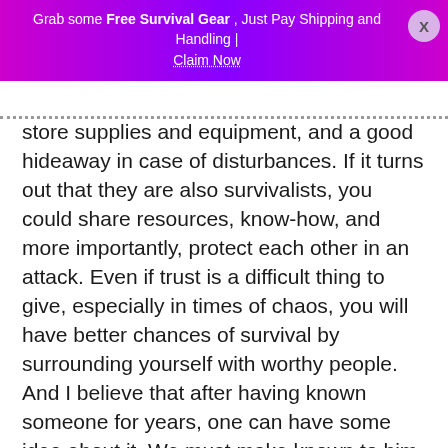Grab some Free Survival Gear , Just Pay Shipping and Handling | Claim Now
store supplies and equipment, and a good hideaway in case of disturbances. If it turns out that they are also survivalists, you could share resources, know-how, and more importantly, protect each other in an attack. Even if trust is a difficult thing to give, especially in times of chaos, you will have better chances of survival by surrounding yourself with worthy people. And I believe that after having known someone for years, one can have some idea about it, We must make known to him the details of our preparation, or leave him alone.
On the psychological level, being part of a group brings invaluable support to each individual. That's what makes the strength of elite troops around the